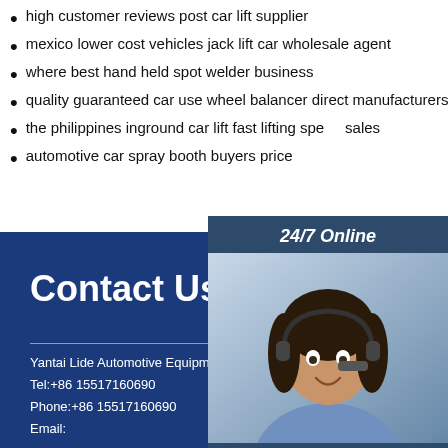high customer reviews post car lift supplier
mexico lower cost vehicles jack lift car wholesale agent
where best hand held spot welder business
quality guaranteed car use wheel balancer direct manufacturers
the philippines inground car lift fast lifting speed sales
automotive car spray booth buyers price
[Figure (illustration): Customer service representative with headset, 24/7 Online chat widget with dark blue background, 'Click here for free chat!' text and orange QUOTATION button]
Contact Us
Yantai Lide Automotive Equipment Manufacturing Co., ltd.
Tel:+86 15517160690
Phone:+86 15517160690
Email: